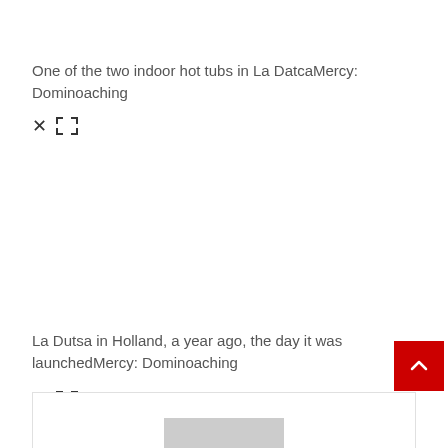One of the two indoor hot tubs in La DatcaMercy: Dominoaching
[Figure (photo): Broken/missing image placeholder with close (×) and expand icons — photo of indoor hot tub not loaded]
La Dutsa in Holland, a year ago, the day it was launchedMercy: Dominoaching
[Figure (photo): Broken/missing image placeholder with close (×) and expand icons — partially visible image at bottom of page]